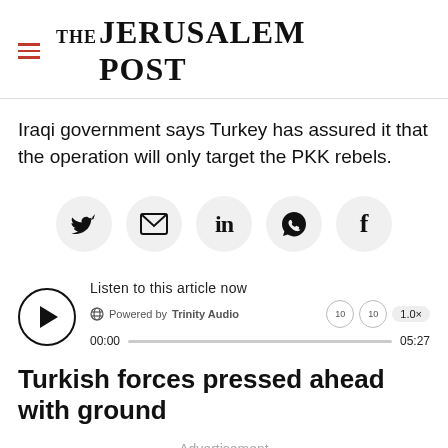THE JERUSALEM POST
Iraqi government says Turkey has assured it that the operation will only target the PKK rebels.
[Figure (other): Social share buttons: Twitter, Email, LinkedIn, WhatsApp, Facebook]
[Figure (other): Audio player widget: Listen to this article now. Powered by Trinity Audio. Time 00:00 / 05:27, speed 1.0x]
Turkish forces pressed ahead with ground
Advertisement